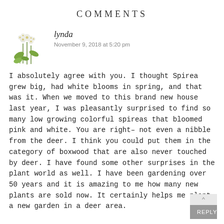COMMENTS
lynda
November 9, 2018 at 5:20 pm
I absolutely agree with you. I thought Spirea grew big, had white blooms in spring, and that was it. When we moved to this brand new house last year, I was pleasantly surprised to find so many low growing colorful spireas that bloomed pink and white. You are right- not even a nibble from the deer. I think you could put them in the category of boxwood that are also never touched by deer. I have found some other surprises in the plant world as well. I have been gardening over 50 years and it is amazing to me how many new plants are sold now. It certainly helps me plant a new garden in a deer area.